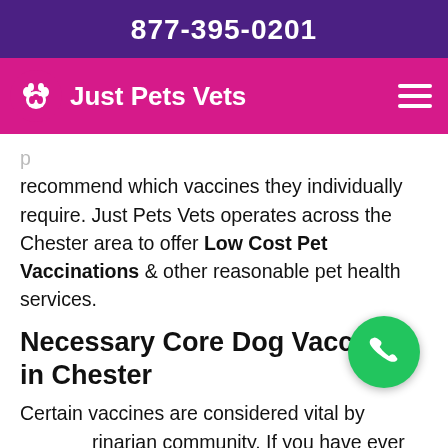877-395-0201
Just Pets Vets
recommend which vaccines they individually require. Just Pets Vets operates across the Chester area to offer Low Cost Pet Vaccinations & other reasonable pet health services.
Necessary Core Dog Vaccines in Chester
Certain vaccines are considered vital by the veterinarian community. If you have ever experienced pet euthanasia, you understand why vaccines are so important. Just Pets Vets offers vaccines for dogs which are vital for their health.